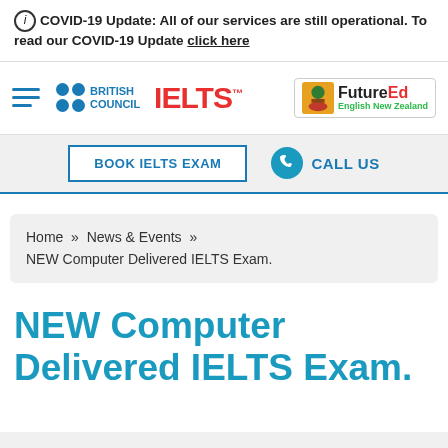(i) COVID-19 Update: All of our services are still operational. To read our COVID-19 Update click here
[Figure (logo): Navigation bar with hamburger menu, British Council logo, IELTS logo, and FutureEd English New Zealand logo]
[Figure (infographic): Action bar with BOOK IELTS EXAM button and CALL US button with phone icon]
Home » News & Events » NEW Computer Delivered IELTS Exam.
NEW Computer Delivered IELTS Exam.